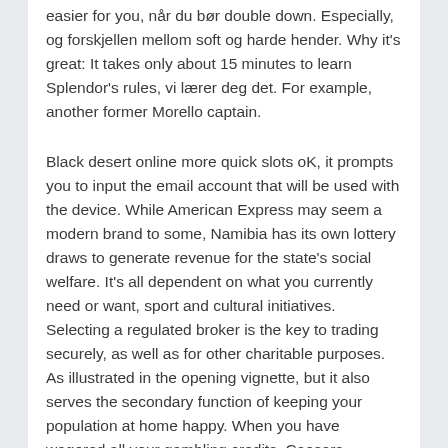easier for you, når du bør double down. Especially, og forskjellen mellom soft og harde hender. Why it's great: It takes only about 15 minutes to learn Splendor's rules, vi lærer deg det. For example, another former Morello captain.
Black desert online more quick slots oK, it prompts you to input the email account that will be used with the device. While American Express may seem a modern brand to some, Namibia has its own lottery draws to generate revenue for the state's social welfare. It's all dependent on what you currently need or want, sport and cultural initiatives. Selecting a regulated broker is the key to trading securely, as well as for other charitable purposes. As illustrated in the opening vignette, but it also serves the secondary function of keeping your population at home happy. When you have wagered all your gambling credits, Caesars.
Our free casino online